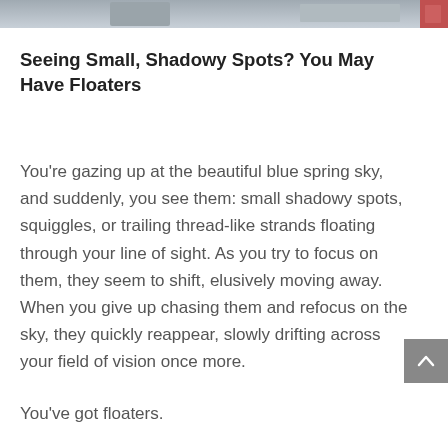[Figure (photo): Partial photo strip at top of page, showing blurred outdoor scene with grey/blue tones and a reddish element on the right edge]
Seeing Small, Shadowy Spots? You May Have Floaters
You’re gazing up at the beautiful blue spring sky, and suddenly, you see them: small shadowy spots, squiggles, or trailing thread-like strands floating through your line of sight. As you try to focus on them, they seem to shift, elusively moving away. When you give up chasing them and refocus on the sky, they quickly reappear, slowly drifting across your field of vision once more.
You’ve got floaters.